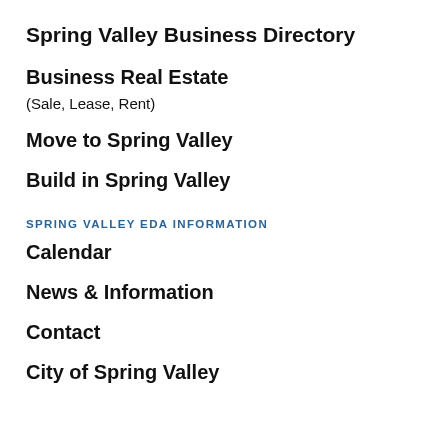Spring Valley Business Directory
Business Real Estate
(Sale, Lease, Rent)
Move to Spring Valley
Build in Spring Valley
SPRING VALLEY EDA INFORMATION
Calendar
News & Information
Contact
City of Spring Valley